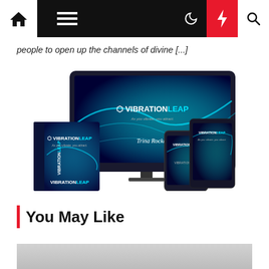Navigation bar with home, menu, moon, bolt, and search icons
people to open up the channels of divine [...]
[Figure (illustration): Product bundle image showing VIBRATIONLEAP branding on a monitor, box, tablet, and phone with teal/blue glowing wave design and text 'Trina Rocker']
You May Like
[Figure (photo): Partially visible image at the bottom of the page]